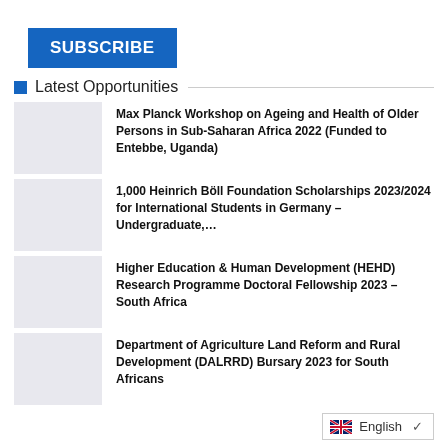SUBSCRIBE
Latest Opportunities
Max Planck Workshop on Ageing and Health of Older Persons in Sub-Saharan Africa 2022 (Funded to Entebbe, Uganda)
1,000 Heinrich Böll Foundation Scholarships 2023/2024 for International Students in Germany – Undergraduate,…
Higher Education & Human Development (HEHD) Research Programme Doctoral Fellowship 2023 – South Africa
Department of Agriculture Land Reform and Rural Development (DALRRD) Bursary 2023 for South Africans
English